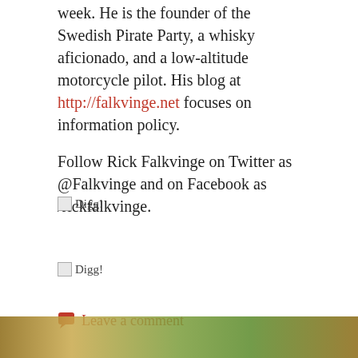week. He is the founder of the Swedish Pirate Party, a whisky aficionado, and a low-altitude motorcycle pilot. His blog at http://falkvinge.net focuses on information policy.
Follow Rick Falkvinge on Twitter as @Falkvinge and on Facebook as /rickfalkvinge.
[Figure (other): Digg! button/icon placeholder image]
[Figure (other): Digg! button/icon placeholder image]
Leave a comment
[Figure (photo): Bottom strip of a colorful photo visible at the bottom of the page]